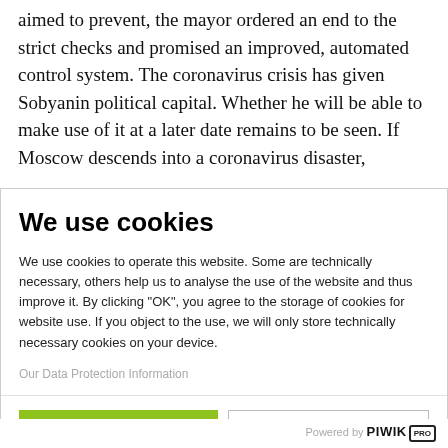aimed to prevent, the mayor ordered an end to the strict checks and promised an improved, automated control system. The coronavirus crisis has given Sobyanin political capital. Whether he will be able to make use of it at a later date remains to be seen. If Moscow descends into a coronavirus disaster,
We use cookies
We use cookies to operate this website. Some are technically necessary, others help us to analyse the use of the website and thus improve it. By clicking "OK", you agree to the storage of cookies for website use. If you object to the use, we will only store technically necessary cookies on your device.
Our Data Protection Information
OK
No, thank you
Powered by PIWIK PRO